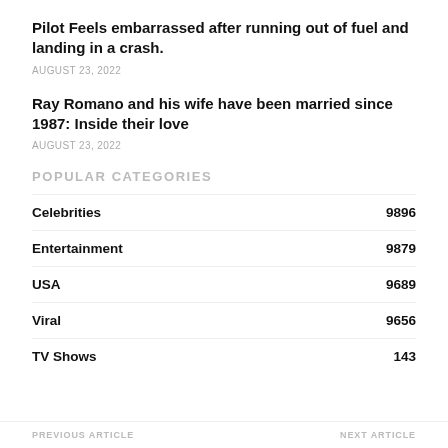Pilot Feels embarrassed after running out of fuel and landing in a crash.
AUGUST 23, 2022
Ray Romano and his wife have been married since 1987: Inside their love
AUGUST 23, 2022
POPULAR CATEGORIES
Celebrities 9896
Entertainment 9879
USA 9689
Viral 9656
TV Shows 143
PREVIOUS ARTICLE    NEXT ARTICLE